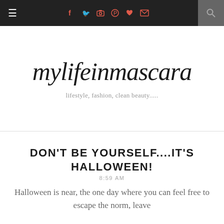≡  [social icons: f, twitter, instagram, pinterest, heart, mail]  [search]
mylifeinmascara
lifestyle, fashion, clean beauty.....
DON'T BE YOURSELF....IT'S HALLOWEEN!
8:59 AM
Halloween is near, the one day where you can feel free to escape the norm, leave